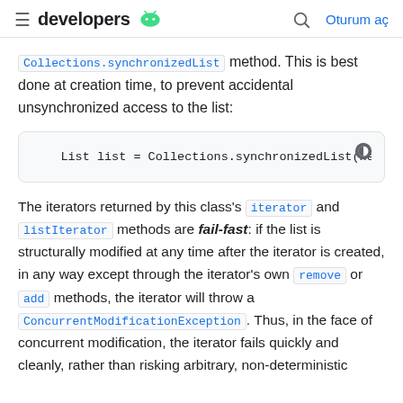developers [android logo] | [search] Oturum aç
Collections.synchronizedList method. This is best done at creation time, to prevent accidental unsynchronized access to the list:
[Figure (screenshot): Code block showing: List list = Collections.synchronizedList(new A]
The iterators returned by this class's iterator and listIterator methods are fail-fast: if the list is structurally modified at any time after the iterator is created, in any way except through the iterator's own remove or add methods, the iterator will throw a ConcurrentModificationException. Thus, in the face of concurrent modification, the iterator fails quickly and cleanly, rather than risking arbitrary, non-deterministic behavior at an undetermined time in the future.